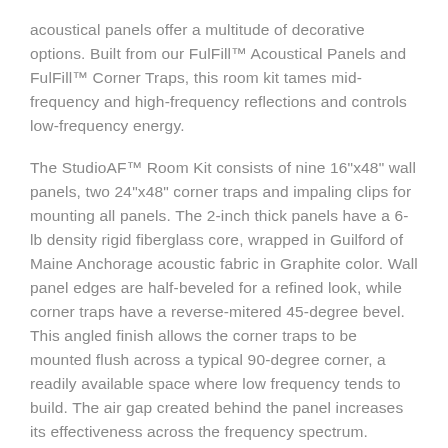acoustical panels offer a multitude of decorative options. Built from our FulFill™ Acoustical Panels and FulFill™ Corner Traps, this room kit tames mid-frequency and high-frequency reflections and controls low-frequency energy.
The StudioAF™ Room Kit consists of nine 16"x48" wall panels, two 24"x48" corner traps and impaling clips for mounting all panels. The 2-inch thick panels have a 6-lb density rigid fiberglass core, wrapped in Guilford of Maine Anchorage acoustic fabric in Graphite color. Wall panel edges are half-beveled for a refined look, while corner traps have a reverse-mitered 45-degree bevel. This angled finish allows the corner traps to be mounted flush across a typical 90-degree corner, a readily available space where low frequency tends to build. The air gap created behind the panel increases its effectiveness across the frequency spectrum.
All...